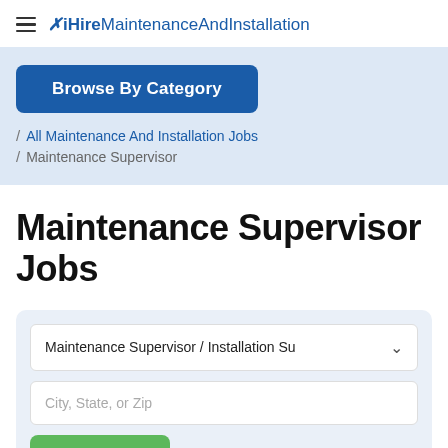iHireMaintenanceAndInstallation
Browse By Category
/ All Maintenance And Installation Jobs
/ Maintenance Supervisor
Maintenance Supervisor Jobs
Maintenance Supervisor / Installation Su
City, State, or Zip